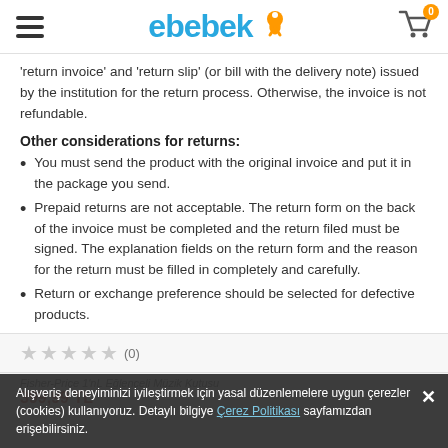ebebek [logo with cart icon, 0 items]
'return invoice' and 'return slip' (or bill with the delivery note) issued by the institution for the return process. Otherwise, the invoice is not refundable.
Other considerations for returns:
You must send the product with the original invoice and put it in the package you send.
Prepaid returns are not acceptable. The return form on the back of the invoice must be completed and the return filed must be signed. The explanation fields on the return form and the reason for the return must be filled in completely and carefully.
Return or exchange preference should be selected for defective products.
★★★★★ (0)
Fisher-Price 1'nL Eğlenceli Müzik Kutusu
399,99 TL
Alışveriş deneyiminizi iyileştirmek için yasal düzenlemelere uygun çerezler (cookies) kullanıyoruz. Detaylı bilgiye Çerez Politikası sayfamızdan erişebilirsiniz.